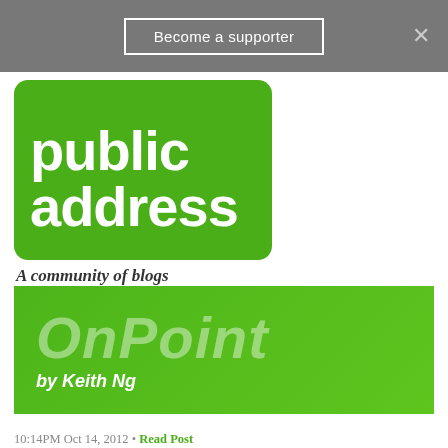Become a supporter
[Figure (logo): Public Address - A community of blogs logo, green speech bubble shape with white text]
[Figure (logo): OnPoint by Keith Ng - green banner with large italic OnPoint text and byline]
10:14PM Oct 14, 2012 • Read Post
OnPoint: MSD's Leaky Servers
629 RESPONSES   Subscribe by [email] [rss]
← Older  1 … 13  14  15  16  17 … 26  Newer →